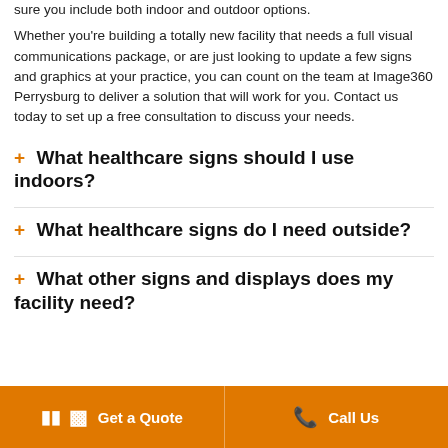sure you include both indoor and outdoor options.
Whether you're building a totally new facility that needs a full visual communications package, or are just looking to update a few signs and graphics at your practice, you can count on the team at Image360 Perrysburg to deliver a solution that will work for you. Contact us today to set up a free consultation to discuss your needs.
+ What healthcare signs should I use indoors?
+ What healthcare signs do I need outside?
+ What other signs and displays does my facility need?
Get a Quote | Call Us